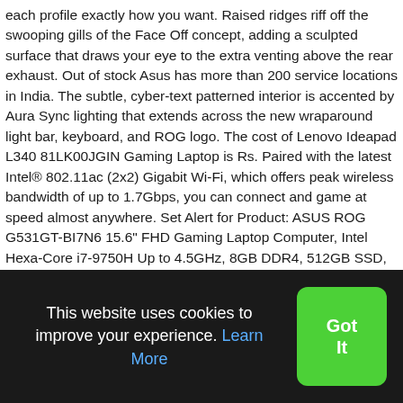each profile exactly how you want. Raised ridges riff off the swooping gills of the Face Off concept, adding a sculpted surface that draws your eye to the extra venting above the rear exhaust. Out of stock Asus has more than 200 service locations in India. The subtle, cyber-text patterned interior is accented by Aura Sync lighting that extends across the new wraparound light bar, keyboard, and ROG logo. The cost of Lenovo Ideapad L340 81LK00JGIN Gaming Laptop is Rs. Paired with the latest Intel® 802.11ac (2x2) Gigabit Wi-Fi, which offers peak wireless bandwidth of up to 1.7Gbps, you can connect and game at speed almost anywhere. Set Alert for Product: ASUS ROG G531GT-BI7N6 15.6" FHD Gaming Laptop Computer, Intel Hexa-Core i7-9750H Up to 4.5GHz, 8GB DDR4, 512GB SSD, NVIDIA GeForce GTX 1650, 802.11ac WiFi, HDMI, USB 3.0, Windows 10 - $920.00 The Space key has also been extended and reshaped for more comfort and fewer misses.
This website uses cookies to improve your experience. Learn More
Got It